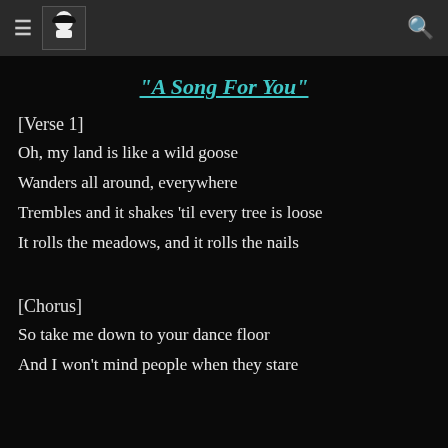[hamburger menu] [logo] [search icon]
"A Song For You"
[Verse 1]
Oh, my land is like a wild goose
Wanders all around, everywhere
Trembles and it shakes 'til every tree is loose
It rolls the meadows, and it rolls the nails
[Chorus]
So take me down to your dance floor
And I won't mind people when they stare